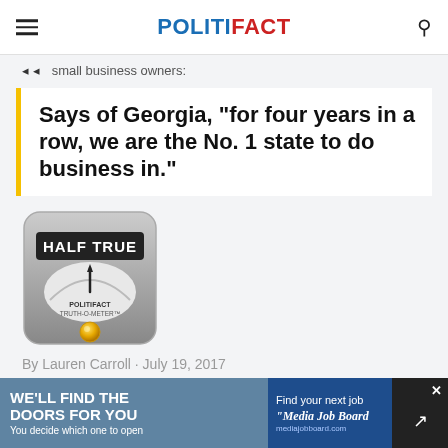POLITIFACT
small business owners:
Says of Georgia, "for four years in a row, we are the No. 1 state to do business in."
[Figure (illustration): PolitiFact Truth-O-Meter gauge showing HALF TRUE rating with yellow indicator button at bottom]
By Lauren Carroll · July 19, 2017
[Figure (infographic): Advertisement banner: WE'LL FIND THE DOORS FOR YOU - You decide which one to open | Find your next job - Media Job Board]